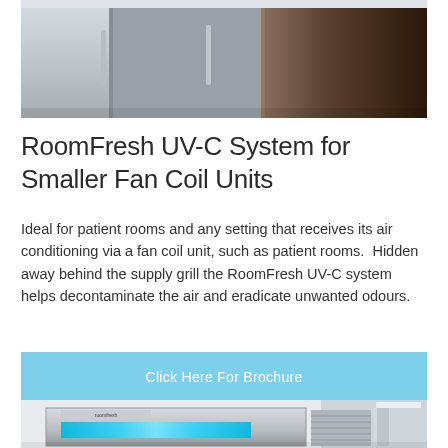[Figure (photo): Photo of a hotel/patient room showing a stainless steel refrigerator unit and a dark wooden door in the background]
RoomFresh UV-C System for Smaller Fan Coil Units
Ideal for patient rooms and any setting that receives its air conditioning via a fan coil unit, such as patient rooms.  Hidden away behind the supply grill the RoomFresh UV-C system helps decontaminate the air and eradicate unwanted odours.
Click Here For Brochure
[Figure (photo): Photo of a RoomFresh UV-C fan coil unit installed in a ceiling, showing a stainless steel housing with blue UV-C lights glowing inside, mounted in a white ceiling with a ventilation grid to the right]